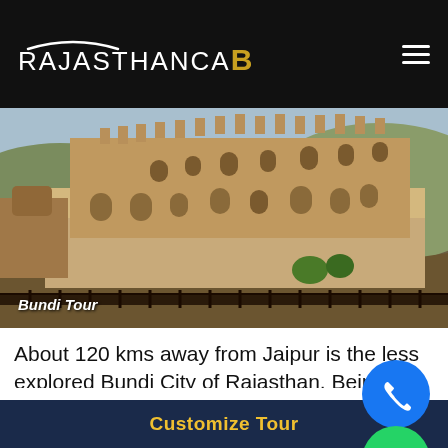RajasthanCaB
[Figure (photo): A large historic Indian fort with ornate architecture built on a rocky hillside, beige/sandstone colored, with green shrubbery. Caption reads: Bundi Tour]
Bundi Tour
About 120 kms away from Jaipur is the less explored Bundi City of Rajasthan. Being the and native place of the tribe Bundi Meena, the city beholds its glorifying past of a bygone era. beautifully designed forts and buildings, the
Customize Tour